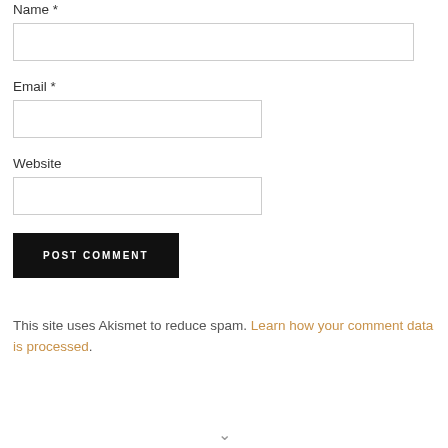Name *
Email *
Website
POST COMMENT
This site uses Akismet to reduce spam. Learn how your comment data is processed.